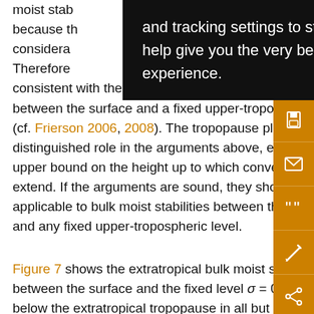moist stability ... because the ... is considerably ... 2). Therefore ... consistent with the variations of the bulk moist stability between the surface and a fixed upper-tropospheric level (cf. Frierson 2006, 2008). The tropopause plays no distinguished role in the arguments above, except as an upper bound on the height up to which convection can extend. If the arguments are sound, they should also be applicable to bulk moist stabilities between the surface and any fixed upper-tropospheric level.
Figure 7 shows the extratropical bulk moist stability (7) between the surface and the fixed level σ = 0.4, which lies below the extratropical tropopause in all but the coldest